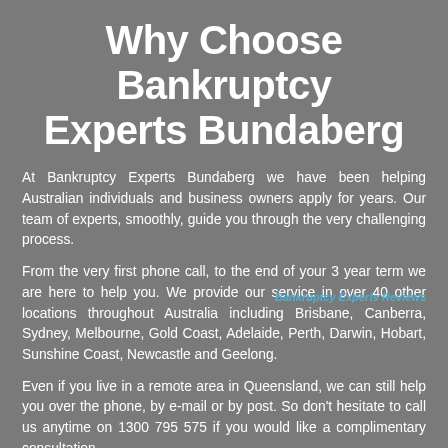Why Choose Bankruptcy Experts Bundaberg
At Bankruptcy Experts Bundaberg we have been helping Australian individuals and business owners apply for years. Our team of experts, smoothly, guide you through the very challenging process.
From the very first phone call, to the end of your 3 year term we are here to help you. We provide our service in over 40 other locations throughout Australia including Brisbane, Canberra, Sydney, Melbourne, Gold Coast, Adelaide, Perth, Darwin, Hobart, Sunshine Coast, Newcastle and Geelong.
Bankruptcy Experts Reviews
Even if you live in a remote area in Queensland, we can still help you over the phone, by e-mail or by post. So don't hesitate to call us anytime on 1300 795 575 if you would like a complimentary consultation.